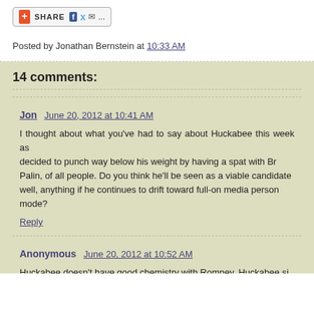[Figure (other): Share bar with social media icons: plus/share button, Facebook, Twitter, email icons]
Posted by Jonathan Bernstein at 10:33 AM
14 comments:
Jon  June 20, 2012 at 10:41 AM
I thought about what you've had to say about Huckabee this week as decided to punch way below his weight by having a spat with Br Palin, of all people. Do you think he'll be seen as a viable candidate well, anything if he continues to drift toward full-on media person mode?
Reply
Anonymous  June 20, 2012 at 10:52 AM
Huckabee doesn't have good chemistry with Romney. Huckabee si doesn't afford enough respect to individuals on account of their ha amassed a big enough pile of cash. I doubt if Romney could trust sufficiently to make him his successor.
Reply